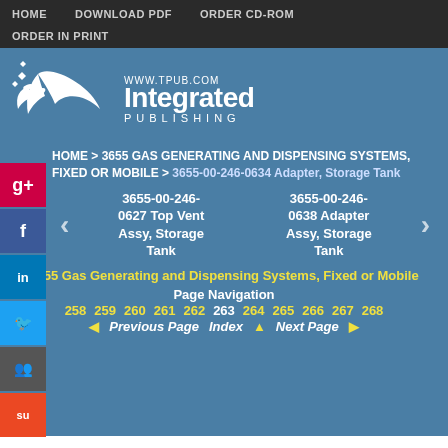HOME  DOWNLOAD PDF  ORDER CD-ROM  ORDER IN PRINT
[Figure (logo): Integrated Publishing logo with bird/arrow graphic and www.tpub.com URL]
HOME > 3655 GAS GENERATING AND DISPENSING SYSTEMS, FIXED OR MOBILE > 3655-00-246-0634 Adapter, Storage Tank
3655-00-246-0627 Top Vent Assy, Storage Tank
3655-00-246-0638 Adapter Assy, Storage Tank
3655 Gas Generating and Dispensing Systems, Fixed or Mobile
Page Navigation
258 259 260 261 262 263 264 265 266 267 268
Previous Page  Index  Next Page